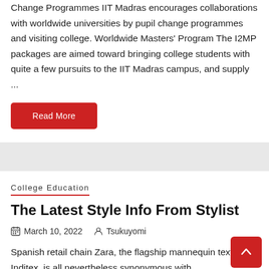Change Programmes IIT Madras encourages collaborations with worldwide universities by pupil change programmes and visiting college. Worldwide Masters' Program The I2MP packages are aimed toward bringing college students with quite a few pursuits to the IIT Madras campus, and supply ...
Read More
College Education
The Latest Style Info From Stylist
March 10, 2022   Tsukuyomi
Spanish retail chain Zara, the flagship mannequin textile big Inditex, is all nevertheless synonymous with